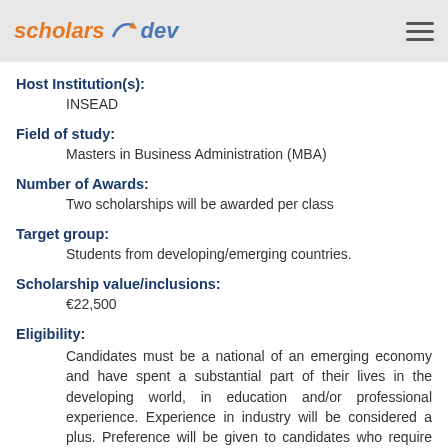scholars dev
Host Institution(s):
INSEAD
Field of study:
Masters in Business Administration (MBA)
Number of Awards:
Two scholarships will be awarded per class
Target group:
Students from developing/emerging countries.
Scholarship value/inclusions:
€22,500
Eligibility:
Candidates must be a national of an emerging economy and have spent a substantial part of their lives in the developing world, in education and/or professional experience. Experience in industry will be considered a plus. Preference will be given to candidates who require proven financial assistance.